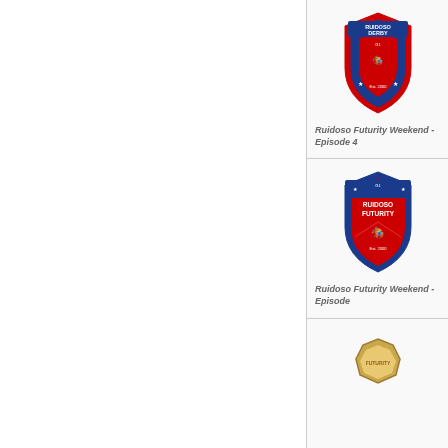[Figure (logo): Ruidoso Derby shield logo with red border, blue shield, horses racing, G1 text]
Ruidoso Futurity Weekend - Episode 4
[Figure (logo): Ruidoso Futurity shield logo with red and blue colors, horse racing silhouette, G1 text]
Ruidoso Futurity Weekend - Episode
[Figure (logo): Partially visible gold/yellow badge logo at bottom]